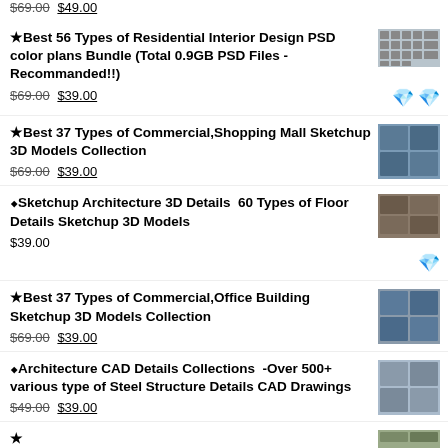$69.00 $49.00
★Best 56 Types of Residential Interior Design PSD color plans Bundle (Total 0.9GB PSD Files - Recommanded!!) $69.00 $39.00
★Best 37 Types of Commercial,Shopping Mall Sketchup 3D Models Collection $69.00 $39.00
⬥Sketchup Architecture 3D Details  60 Types of Floor Details Sketchup 3D Models $39.00
★Best 37 Types of Commercial,Office Building Sketchup 3D Models Collection $69.00 $39.00
⬥Architecture CAD Details Collections  -Over 500+ various type of Steel Structure Details CAD Drawings $49.00 $39.00
★ ...